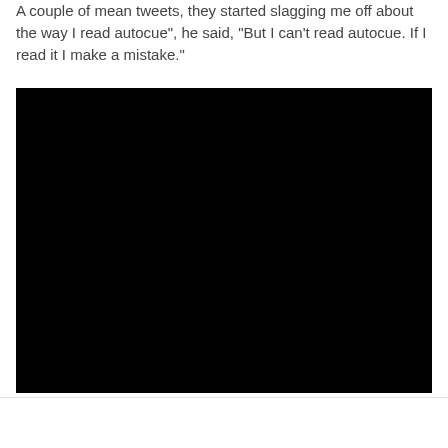A couple of mean tweets, they started slagging me off about the way I read autocue", he said, "But I can't read autocue. If I read it I make a mistake."
[Figure (photo): A completely black rectangular image, likely an embedded video player with no content visible.]